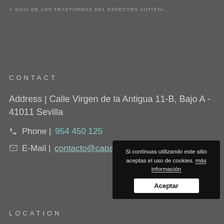> GUIA DE LOS TRASTORNOS DEL ESPECTRO AUTISTA
CONTACT
Address | Calle Virgen de la Antigua 11-B, Bajo A - 41011 Sevilla
Phone | 954 450 125
E-Mail | contacto@capasevilla.es
[Figure (screenshot): Cookie consent popup with text 'Si continuas utilizando este sitio aceptas el uso de cookies. más información' and an Aceptar button]
LOCATION